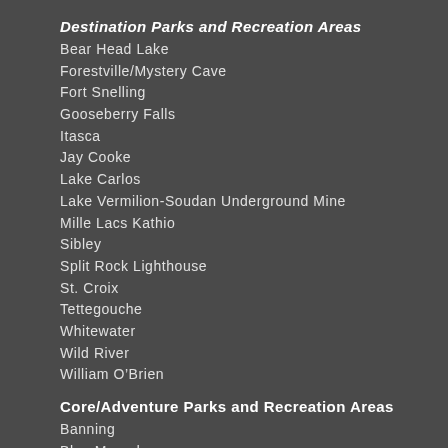Destination Parks and Recreation Areas
Bear Head Lake
Forestville/Mystery Cave
Fort Snelling
Gooseberry Falls
Itasca
Jay Cooke
Lake Carlos
Lake Vermilion-Soudan Underground Mine
Mille Lacs Kathio
Sibley
Split Rock Lighthouse
St. Croix
Tettegouche
Whitewater
Wild River
William O’Brien
Core/Adventure Parks and Recreation Areas
Banning
Blue Mounds
Cuyuna Country
Interstate